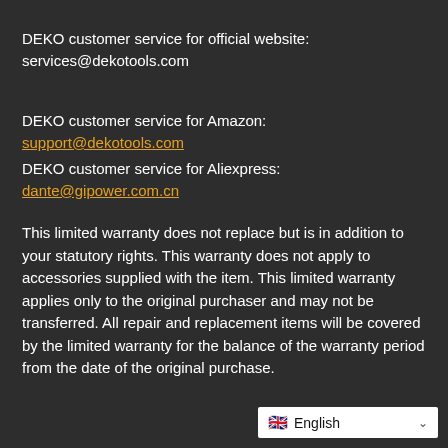DEKO customer service for official website: services@dekotools.com
DEKO customer service for Amazon: support@dekotools.com
DEKO customer service for Aliexpress: dante@gipower.com.cn
This limited warranty does not replace but is in addition to your statutory rights. This warranty does not apply to accessories supplied with the item. This limited warranty applies only to the original purchaser and may not be transferred. All repair and replacement items will be covered by the limited warranty for the balance of the warranty period from the date of the original purchase.
English